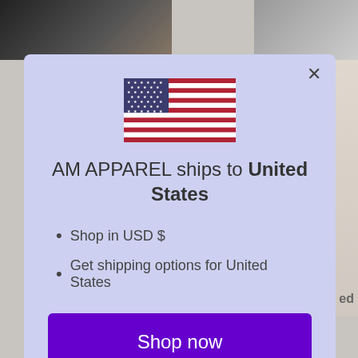[Figure (screenshot): Background of an e-commerce website page with product images partially visible behind a modal dialog, and color swatches at the bottom.]
AM APPAREL ships to United States
Shop in USD $
Get shipping options for United States
Shop now
Change shipping country